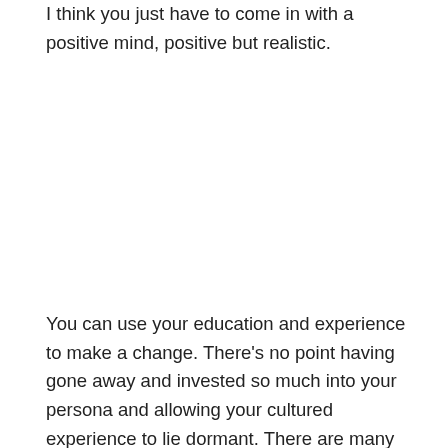I think you just have to come in with a positive mind, positive but realistic.
You can use your education and experience to make a change. There's no point having gone away and invested so much into your persona and allowing your cultured experience to lie dormant. There are many areas where we can make a difference; so many. The opportunities are there and believe it or not, things are changing and we need to be